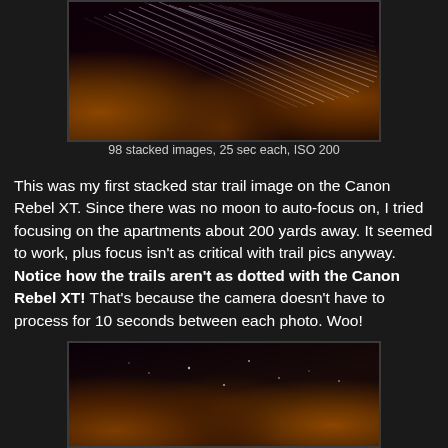[Figure (photo): Night sky star trail photograph showing diagonal star trails against dark sky with orange-lit pine trees on left and right sides]
98 stacked images, 25 sec each, ISO 200
This was my first stacked star trail image on the Canon Rebel XT. Since there was no moon to auto-focus on, I tried focusing on the apartments about 200 yards away. It seemed to work, plus focus isn't as critical with trail pics anyway. Notice how the trails aren't as dotted with the Canon Rebel XT! That's because the camera doesn't have to process for 10 seconds between each photo. Woo!
[Figure (photo): Night sky photograph showing a few scattered stars against reddish-brown sky glow with orange-lit pine trees in lower corners]